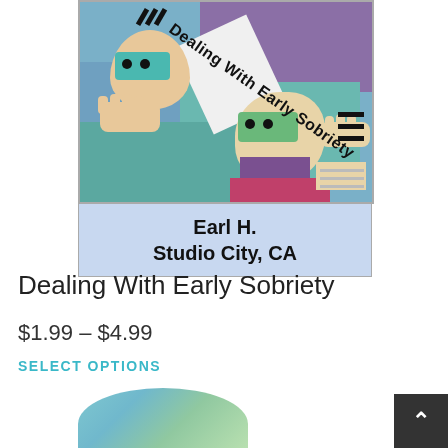[Figure (illustration): Album/cassette cover art for 'Dealing With Early Sobriety' by Earl H., Studio City, CA. Colorful abstract illustration of two masked figures with text 'Dealing With Early Sobriety' on a diagonal. Blue, teal, purple, and pink color scheme.]
Dealing With Early Sobriety
$1.99 – $4.99
SELECT OPTIONS